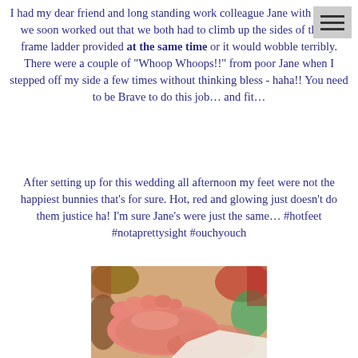I had my dear friend and long standing work colleague Jane with me and we soon worked out that we both had to climb up the sides of the ‘A’ frame ladder provided at the same time or it would wobble terribly. There were a couple of “Whoop Whoops!!” from poor Jane when I stepped off my side a few times without thinking bless - haha!! You need to be Brave to do this job… and fit…
After setting up for this wedding all afternoon my feet were not the happiest bunnies that’s for sure. Hot, red and glowing just doesn’t do them justice ha! I’m sure Jane’s were just the same… #hotfeet #notaprettysight #ouchyouch
[Figure (photo): Close-up photo of red, tired, hot feet resting together, with colorful items in the background.]